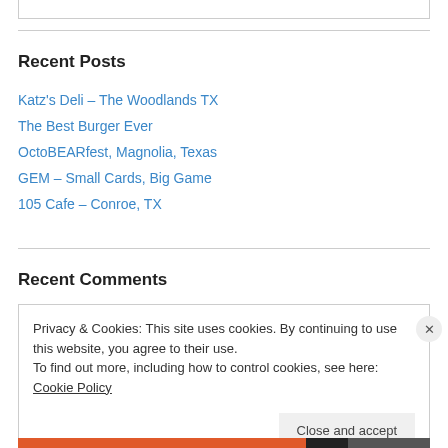Recent Posts
Katz's Deli – The Woodlands TX
The Best Burger Ever
OctoBEARfest, Magnolia, Texas
GEM – Small Cards, Big Game
105 Cafe – Conroe, TX
Recent Comments
Privacy & Cookies: This site uses cookies. By continuing to use this website, you agree to their use. To find out more, including how to control cookies, see here: Cookie Policy
Close and accept